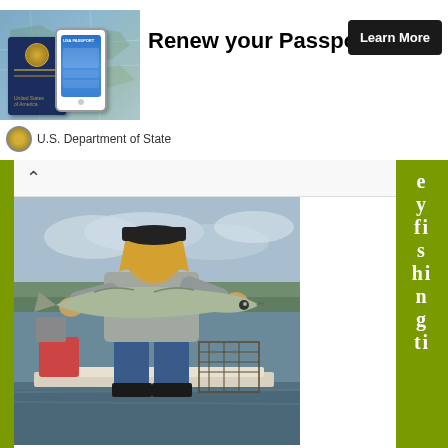[Figure (photo): Ad banner showing a US passport and smartphone with app, promoting passport renewal from the U.S. Department of State]
Renew your Passport
Learn More
U.S. Department of State
[Figure (photo): Person on a boat holding a large muskie fish, with water and cloudy sky in background]
e y fi s hi n g ti
mes during the day include morning and evening when bait-fish activity peaks, and between 1 p.m. and 4 p.m. In many lakes, muskie are also active for a few hours after midnight. Good muskie habitat varies from lake to lake and from river to river, but the basics usually remain the same. Sunken